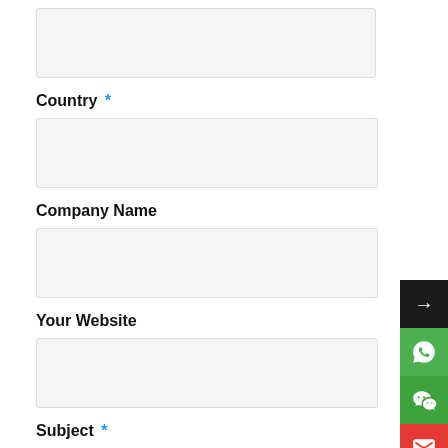[Figure (other): Empty form input field (top, partial)]
Country *
[Figure (other): Empty form input field for Country]
Company Name
[Figure (other): Empty form input field for Company Name]
Your Website
[Figure (other): Empty form input field for Your Website]
Subject *
[Figure (other): Empty form input field for Subject]
Message *
[Figure (other): Sidebar with contact/social icons: arrow, WhatsApp, WeChat, Email, Skype]